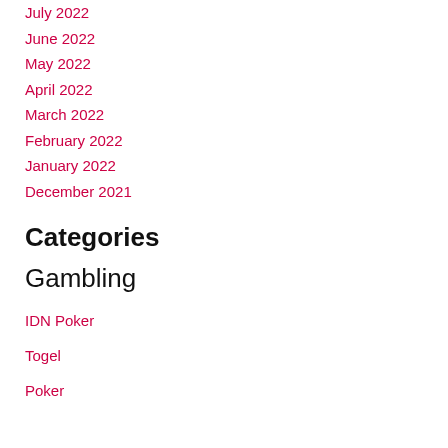July 2022
June 2022
May 2022
April 2022
March 2022
February 2022
January 2022
December 2021
Categories
Gambling
IDN Poker
Togel
Poker